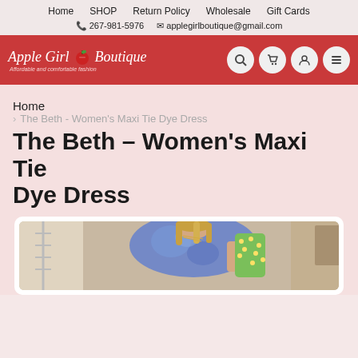Home | SHOP | Return Policy | Wholesale | Gift Cards
267-981-5976  applegirlboutique@gmail.com
[Figure (logo): Apple Girl Boutique logo with red apple icon, script font text, tagline 'Affordable and comfortable fashion']
Home
/ The Beth - Women's Maxi Tie Dye Dress
The Beth - Women's Maxi Tie Dye Dress
[Figure (photo): Woman wearing blue tie dye maxi dress, taking a mirror selfie holding a green polka dot phone case]